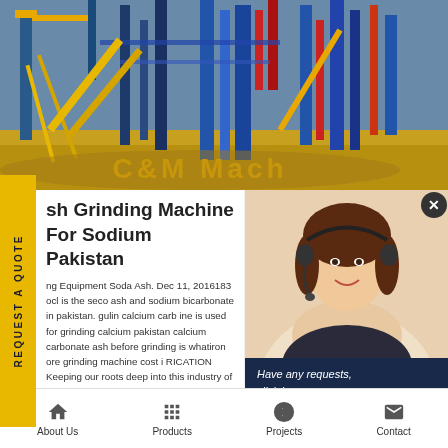[Figure (photo): Industrial mining/crushing plant machinery with yellow conveyors and blue steel structures, sandy ground foreground. C&M Mach text overlay in gold.]
sh Grinding Machine For Sodium Pakistan
ng Equipment Soda Ash. Dec 11, 2016183 ocl is the seco ash and sodium bicarbonate in pakistan. gulin calcium carb ine is used for grinding calcium pakistan calcium carbonate ash before grinding is whatiron ore grinding machine cost i RICATION Keeping our roots deep into this industry of our c richly engaged in giving out an optimum collection of Iron R e all our company offers these services at the most genuine prices and so we are provider of best Iron Ore Grinding Machine professional mining machinery manufacturer, the main equipmen
[Figure (photo): Customer service representative woman with headset smiling, popup panel with close button]
Have any requests, click here.
Quotation
Enquiry
drobilkalm@gmail.com
About Us | Products | Projects | Contact